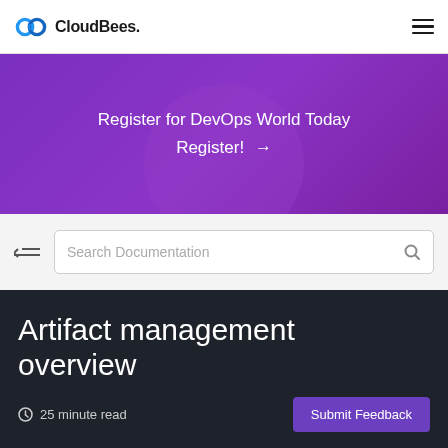CloudBees.
Register for DevOps World Today
Register! →
Search Documentation
Artifact management overview
25 minute read